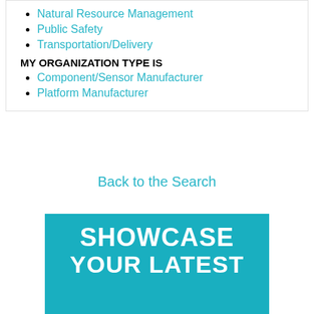Natural Resource Management
Public Safety
Transportation/Delivery
MY ORGANIZATION TYPE IS
Component/Sensor Manufacturer
Platform Manufacturer
Back to the Search
[Figure (other): Teal/cyan promotional banner with bold white text reading SHOWCASE YOUR LATEST (partially visible)]